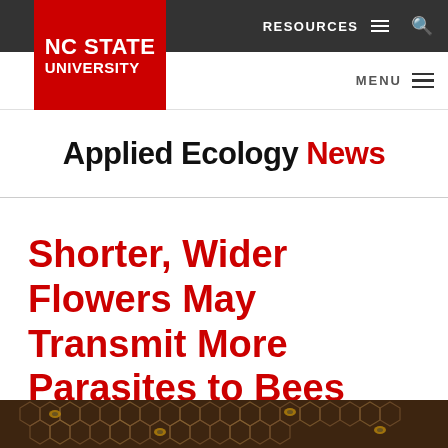NC STATE UNIVERSITY
RESOURCES  MENU
Applied Ecology News
Shorter, Wider Flowers May Transmit More Parasites to Bees
[Figure (photo): Close-up photograph of bees on honeycomb at the bottom of the page]